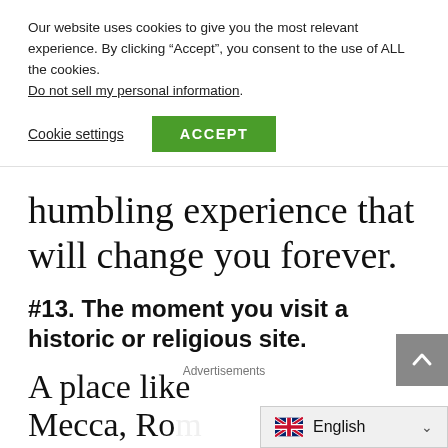Our website uses cookies to give you the most relevant experience. By clicking “Accept”, you consent to the use of ALL the cookies.
Do not sell my personal information.
Cookie settings
ACCEPT
humbling experience that will change you forever.
#13. The moment you visit a historic or religious site.
Advertisements
A place like Mecca, Ro...
English